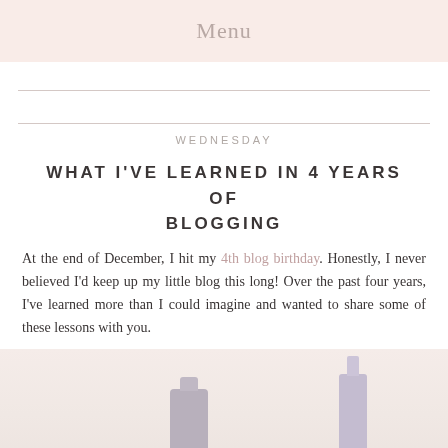Menu
WEDNESDAY
WHAT I'VE LEARNED IN 4 YEARS OF BLOGGING
At the end of December, I hit my 4th blog birthday. Honestly, I never believed I'd keep up my little blog this long! Over the past four years, I've learned more than I could imagine and wanted to share some of these lessons with you.
[Figure (photo): Photo of beauty/cosmetic bottles against a light pink background]